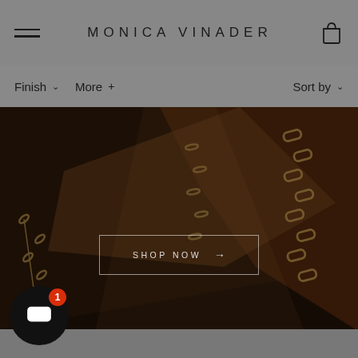MONICA VINADER
Finish ∨   More +   Sort by ∨
[Figure (photo): Close-up product photo of gold chain bracelets on a dark brown/burgundy surface with dramatic lighting. A 'SHOP NOW →' button is overlaid on the center of the image.]
SHOP NOW →
[Figure (screenshot): Chat support widget at bottom left: black circular button with white chat icon and red badge showing '1']